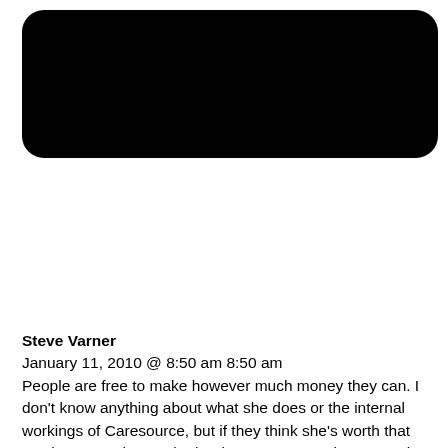[Figure (other): A large black rounded rectangle shape, appearing as a redacted or blacked-out image area at the top of the page.]
Steve Varner
January 11, 2010 @ 8:50 am 8:50 am
People are free to make however much money they can. I don't know anything about what she does or the internal workings of Caresource, but if they think she's worth that much money, then so be it. She or someone there must be pretty good at what they do if they've grown that much recently. They hire area people when others